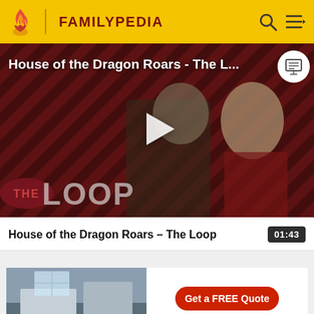FAMILYPEDIA
[Figure (screenshot): Video thumbnail for 'House of the Dragon Roars - The Loop' showing two characters in medieval costume against a red diagonal striped background, with a play button overlay and 'THE LOOP' text logo at bottom left]
House of the Dragon Roars - The L...
House of the Dragon Roars - The Loop	01:43
[Figure (photo): Partial advertisement image showing a kitchen scene with a red 'Get a FREE Quote' button]